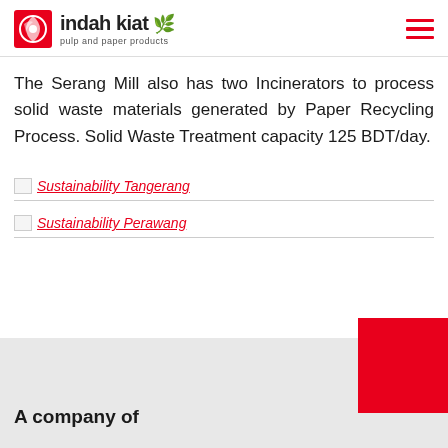indah kiat pulp and paper products
The Serang Mill also has two Incinerators to process solid waste materials generated by Paper Recycling Process. Solid Waste Treatment capacity 125 BDT/day.
[Figure (other): Image link placeholder for Sustainability Tangerang]
[Figure (other): Image link placeholder for Sustainability Perawang]
A company of